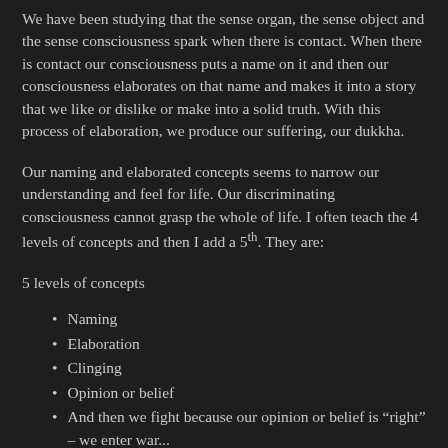We have been studying that the sense organ, the sense object and the sense consciousness spark when there is contact.  When there is contact our consciousness puts a name on it and then our consciousness elaborates on that name and makes it into a story that we like or dislike or make into a solid truth.  With this process of elaboration, we produce our suffering, our dukkha.
Our naming and elaborated concepts seems to narrow our understanding and feel for life.  Our discriminating consciousness cannot grasp the whole of life.  I often teach the 4 levels of concepts and then I add a 5th. They are:
5 levels of concepts
Naming
Elaboration
Clinging
Opinion or belief
And then we fight because our opinion or belief is “right” – we enter war...